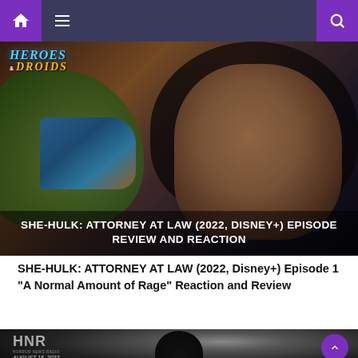Navigation bar with home, menu, and search icons
[Figure (screenshot): She-Hulk holding a megaphone in front of a surprised woman's face, with Heroes & Droids logo overlay. Text overlay reads: SHE-HULK: ATTORNEY AT LAW (2022, DISNEY+) EPISODE REVIEW AND REACTION]
SHE-HULK: ATTORNEY AT LAW (2022, Disney+) Episode 1 "A Normal Amount of Rage" Reaction and Review
[Figure (screenshot): HNR Horror News Radio logo with date August 15, 2022, showing a woman's silhouette from behind against a bright background]